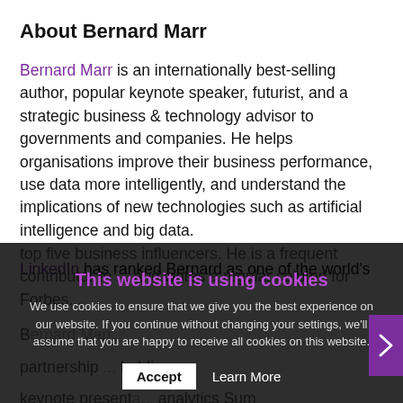About Bernard Marr
Bernard Marr is an internationally best-selling author, popular keynote speaker, futurist, and a strategic business & technology advisor to governments and companies. He helps organisations improve their business performance, use data more intelligently, and understand the implications of new technologies such as artificial intelligence and big data.
LinkedIn has ranked Bernard as one of the world's top five business influencers. He is a frequent contributor to... and writes a regular column for Forbes...
This website is using cookies
We use cookies to ensure that we give you the best experience on our website. If you continue without changing your settings, we'll assume that you are happy to receive all cookies on this website.
Accept  Learn More